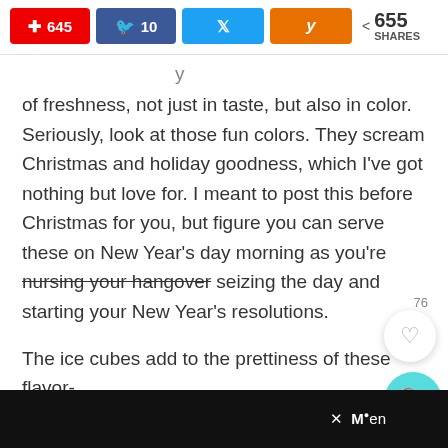Pinterest 645 | Facebook 10 | Twitter | Yummly | 655 SHARES
of freshness, not just in taste, but also in color. Seriously, look at those fun colors. They scream Christmas and holiday goodness, which I've got nothing but love for. I meant to post this before Christmas for you, but figure you can serve these on New Year's day morning as you're nursing your hangover seizing the day and starting your New Year's resolutions.

The ice cubes add to the prettiness of these flavor-
po ... ne ... st ... a m*en